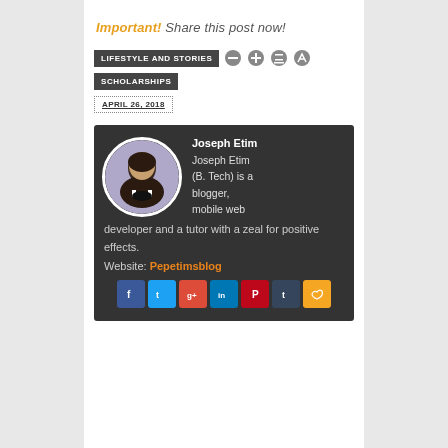Important! Share this post now!
LIFESTYLE AND STORIES   SCHOLARSHIPS   APRIL 26, 2018
[Figure (infographic): Author bio box with circular photo of Joseph Etim, bio text, website link Pepetimsblog, and social media icons (Facebook, Twitter, Google+, LinkedIn, Pinterest, Tumblr, RSS)]